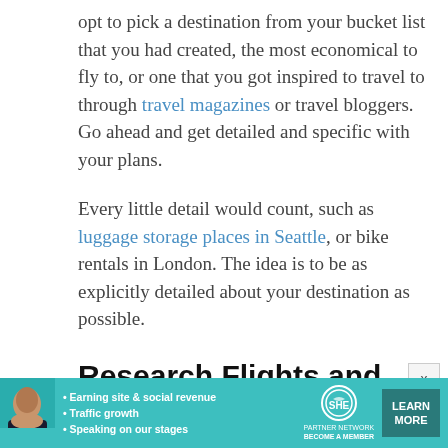opt to pick a destination from your bucket list that you had created, the most economical to fly to, or one that you got inspired to travel to through travel magazines or travel bloggers. Go ahead and get detailed and specific with your plans.

Every little detail would count, such as luggage storage places in Seattle, or bike rentals in London. The idea is to be as explicitly detailed about your destination as possible.
Research Flights and Dates
[Figure (other): Advertisement banner for SHE Media Partner Network featuring a woman, bullet points about earning site & social revenue, traffic growth, speaking on our stages, the SHE logo, and a Learn More button]